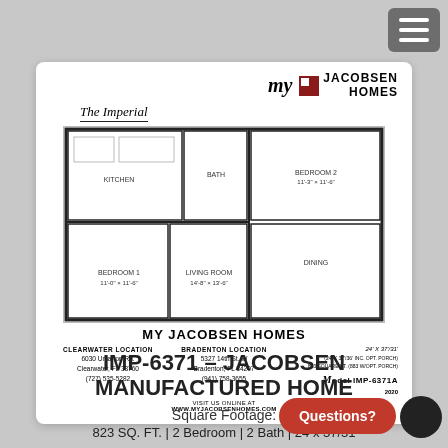[Figure (logo): My Jacobsen Homes logo with red square icon and italic 'my' text]
The Imperial
[Figure (engineering-diagram): Floor plan of The Imperial manufactured home showing 2 bedrooms, living room, kitchen, and bathroom layout]
MY JACOBSEN HOMES
CLEARWATER LOCATION
6030 Umarton Rd.
Clearwater, FL 33760
(727) 535-5282
BRADENTON LOCATION
5327 14th St. W
Bradenton, FL 34207
(941) 758-3655
VISIT US ONLINE AT
WWW.MYJACOBSENHOMES.COM
24' X 37'/31'
(24' X 37'/36' INC. OPT. PORCH)
823 SQUARE FT. (883 W/OPT. PORCH)
Model IMP-6371A
IMP-6371 – JACOBSEN MANUFACTURED HOME
Square Footage:
823 SQ. FT. | 2 Bedroom | 2 Bath | 24 x 37/31